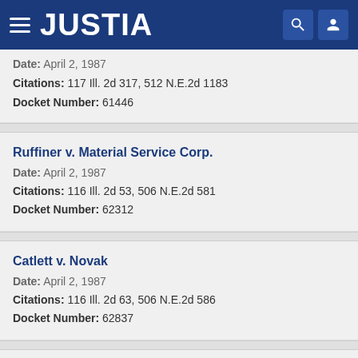JUSTIA
Date: April 2, 1987
Citations: 117 Ill. 2d 317, 512 N.E.2d 1183
Docket Number: 61446
Ruffiner v. Material Service Corp.
Date: April 2, 1987
Citations: 116 Ill. 2d 53, 506 N.E.2d 581
Docket Number: 62312
Catlett v. Novak
Date: April 2, 1987
Citations: 116 Ill. 2d 63, 506 N.E.2d 586
Docket Number: 62837
Massa v. DEP'T OF REGIS. & EDUC.